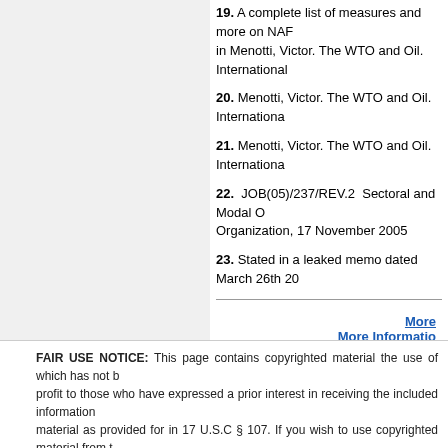19. A complete list of measures and more on NAF... in Menotti, Victor. The WTO and Oil. International...
20. Menotti, Victor. The WTO and Oil. Internationa...
21. Menotti, Victor. The WTO and Oil. Internationa...
22. JOB(05)/237/REV.2 Sectoral and Modal O... Organization, 17 November 2005
23. Stated in a leaked memo dated March 26th 20...
More
More Informatio...
. . . . . . . . . . . . . . . . . . . . . . . . . . . . . . . . . . . . . . .
FAIR USE NOTICE: This page contains copyrighted material the use of which has not b... profit to those who have expressed a prior interest in receiving the included information... material as provided for in 17 U.S.C § 107. If you wish to use copyrighted material from t... owner.